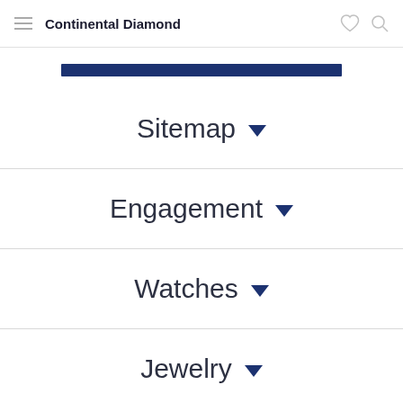Continental Diamond
[Figure (other): Dark navy blue horizontal bar, decorative element]
Sitemap
Engagement
Watches
Jewelry
(partially visible nav item)